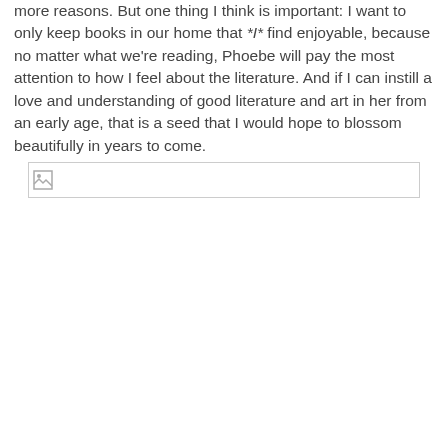more reasons. But one thing I think is important: I want to only keep books in our home that *I* find enjoyable, because no matter what we're reading, Phoebe will pay the most attention to how I feel about the literature. And if I can instill a love and understanding of good literature and art in her from an early age, that is a seed that I would hope to blossom beautifully in years to come.
[Figure (other): Broken/placeholder image icon in a bordered rectangle]